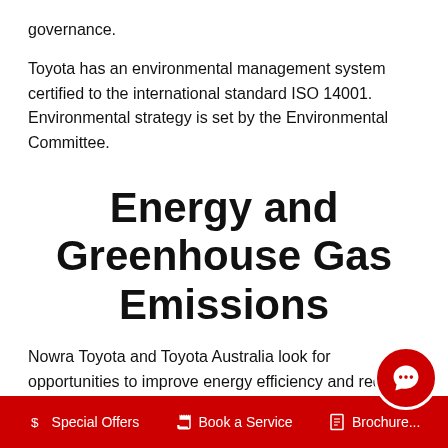governance.
Toyota has an environmental management system certified to the international standard ISO 14001. Environmental strategy is set by the Environmental Committee.
Energy and Greenhouse Gas Emissions
Nowra Toyota and Toyota Australia look for opportunities to improve energy efficiency and reduce greenhouse gas emissions.
Toyota uses natural gas and electricity at its production site at Altona and at non-production sites around Australia. Th...
Special Offers   Book a Service   Brochure...